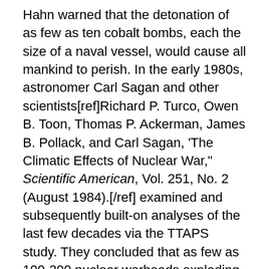Hahn warned that the detonation of as few as ten cobalt bombs, each the size of a naval vessel, would cause all mankind to perish. In the early 1980s, astronomer Carl Sagan and other scientists[ref]Richard P. Turco, Owen B. Toon, Thomas P. Ackerman, James B. Pollack, and Carl Sagan, 'The Climatic Effects of Nuclear War," Scientific American, Vol. 251, No. 2 (August 1984).[/ref] examined and subsequently built-on analyses of the last few decades via the TTAPS study. They concluded that as few as 100-200 nuclear warheads exploding within the span of a few hours could credibly trigger a nuclear winter, plunging temperatures dramatically in the northern hemisphere as tremendous nuclear firestorms block the sun's rays, leading to wholesale starvation, exposure, and the radiation-borne deaths of billions of people worldwide.[ref]For a more recent scientific study, see Alan Robock and Owen Brian Toon, "Local